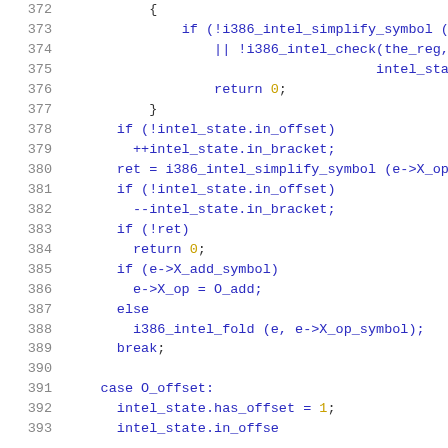Source code listing lines 372-392, showing C code with syntax highlighting. Line numbers in grey on left, code in blue/yellow on right.